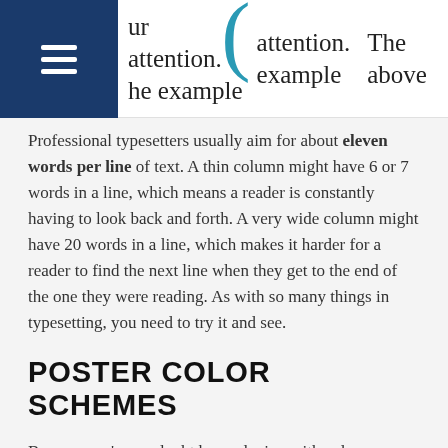ur attention. he example  attention. example  The above
Professional typesetters usually aim for about eleven words per line of text. A thin column might have 6 or 7 words in a line, which means a reader is constantly having to look back and forth. A very wide column might have 20 words in a line, which makes it harder for a reader to find the next line when they get to the end of the one they were reading. As with so many things in typesetting, you need to try it and see.
POSTER COLOR SCHEMES
By now you've no doubt been playing with colors on your poster. In fact, from the moment you input a photograph or figure, colors are automatically chosen. Now that...